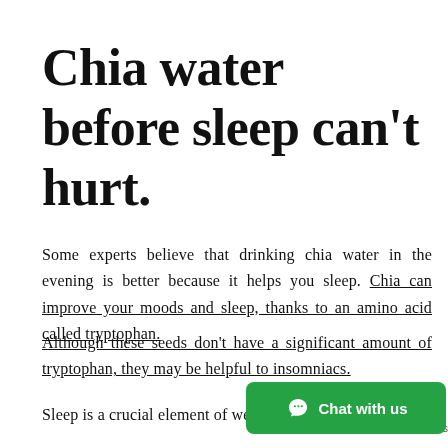Chia water before sleep can't hurt.
Some experts believe that drinking chia water in the evening is better because it helps you sleep. Chia can improve your moods and sleep, thanks to an amino acid called tryptophan.
Although these seeds don't have a significant amount of tryptophan, they may be helpful to insomniacs.
Sleep is a crucial element of weight loss. Sleep depri...